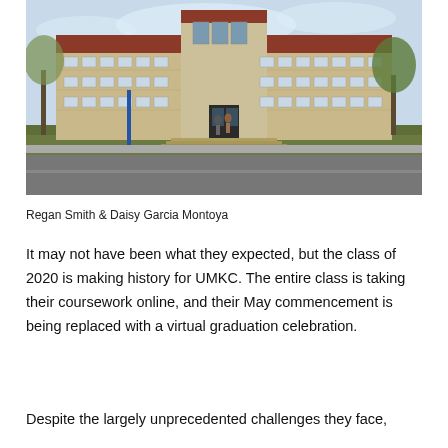[Figure (photo): Exterior photograph of a large multi-story stone university building with a red roof, central entrance with wide staircase, and bare winter trees on either side. Two people are walking up the front steps. A street is visible in the foreground.]
Regan Smith & Daisy Garcia Montoya
It may not have been what they expected, but the class of 2020 is making history for UMKC. The entire class is taking their coursework online, and their May commencement is being replaced with a virtual graduation celebration.
Despite the largely unprecedented challenges they face,